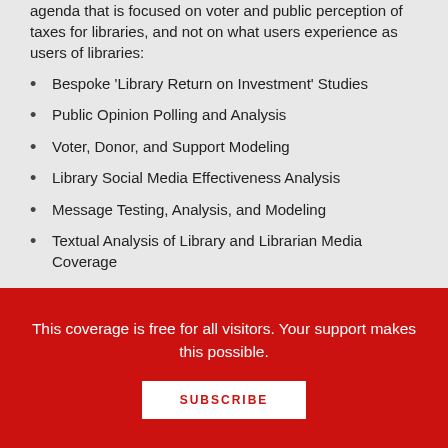agenda that is focused on voter and public perception of taxes for libraries, and not on what users experience as users of libraries:
Bespoke ‘Library Return on Investment’ Studies
Public Opinion Polling and Analysis
Voter, Donor, and Support Modeling
Library Social Media Effectiveness Analysis
Message Testing, Analysis, and Modeling
Textual Analysis of Library and Librarian Media Coverage
This coverage is free for all visitors. Your support makes this possible.
SUBSCRIBE